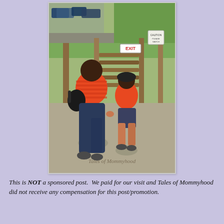[Figure (photo): A woman and a young boy, both wearing orange shirts, walking hand-in-hand away from the camera toward an exit gate at a park or zoo. The woman wears jeans and carries a black bag. The boy wears shorts and a dark cap. Gravel path, wooden fence posts, green grass and trees visible. A sign reads EXIT. Watermark reads 'Tales of Mommyhood'.]
This is NOT a sponsored post.  We paid for our visit and Tales of Mommyhood did not receive any compensation for this post/promotion.